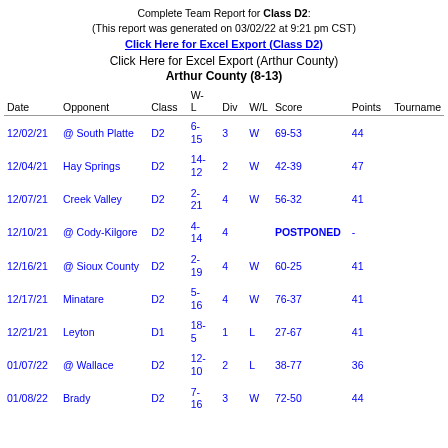Complete Team Report for Class D2: (This report was generated on 03/02/22 at 9:21 pm CST)
Click Here for Excel Export (Class D2)
Click Here for Excel Export (Arthur County)
Arthur County (8-13)
| Date | Opponent | Class | W-L | Div | W/L | Score | Points | Tournament |
| --- | --- | --- | --- | --- | --- | --- | --- | --- |
| 12/02/21 | @ South Platte | D2 | 6-15 | 3 | W | 69-53 | 44 |  |
| 12/04/21 | Hay Springs | D2 | 14-12 | 2 | W | 42-39 | 47 |  |
| 12/07/21 | Creek Valley | D2 | 2-21 | 4 | W | 56-32 | 41 |  |
| 12/10/21 | @ Cody-Kilgore | D2 | 4-14 | 4 |  | POSTPONED | - |  |
| 12/16/21 | @ Sioux County | D2 | 2-19 | 4 | W | 60-25 | 41 |  |
| 12/17/21 | Minatare | D2 | 5-16 | 4 | W | 76-37 | 41 |  |
| 12/21/21 | Leyton | D1 | 18-5 | 1 | L | 27-67 | 41 |  |
| 01/07/22 | @ Wallace | D2 | 12-10 | 2 | L | 38-77 | 36 |  |
| 01/08/22 | Brady | D2 | 7-16 | 3 | W | 72-50 | 44 |  |